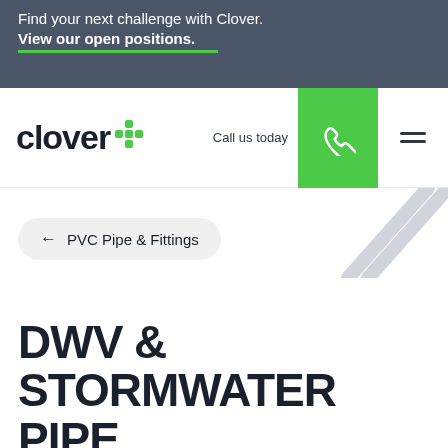Find your next challenge with Clover. View our open positions.
[Figure (logo): Clover logo with green four-leaf clover plus icon, navigation bar with 'Call us today', green phone button, and hamburger menu]
← PVC Pipe & Fittings
DWV & STORMWATER PIPE